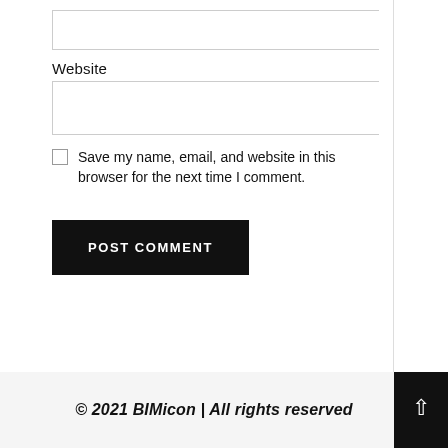Website
Save my name, email, and website in this browser for the next time I comment.
POST COMMENT
© 2021 BIMicon | All rights reserved